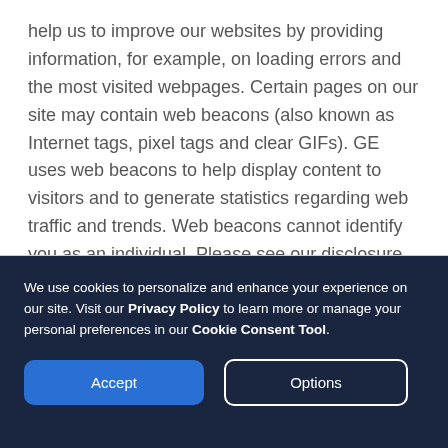help us to improve our websites by providing information, for example, on loading errors and the most visited webpages. Certain pages on our site may contain web beacons (also known as Internet tags, pixel tags and clear GIFs). GE uses web beacons to help display content to visitors and to generate statistics regarding web traffic and trends. Web beacons cannot identify you as an individual. Please see our disclosure section below to manage your Web Beacons.
d) Advertising Cookies
We use cookies to personalize and enhance your experience on our site. Visit our Privacy Policy to learn more or manage your personal preferences in our Cookie Consent Tool.